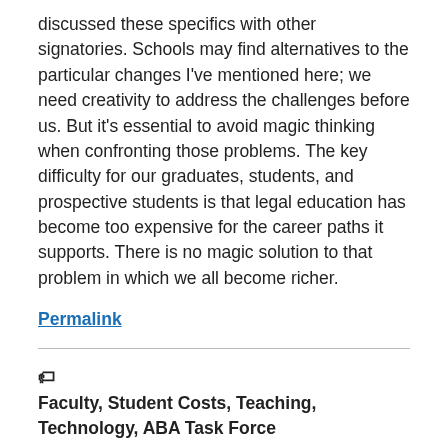discussed these specifics with other signatories. Schools may find alternatives to the particular changes I've mentioned here; we need creativity to address the challenges before us. But it's essential to avoid magic thinking when confronting those problems. The key difficulty for our graduates, students, and prospective students is that legal education has become too expensive for the career paths it supports. There is no magic solution to that problem in which we all become richer.
Permalink
Faculty, Student Costs, Teaching, Technology, ABA Task Force
3 Comments